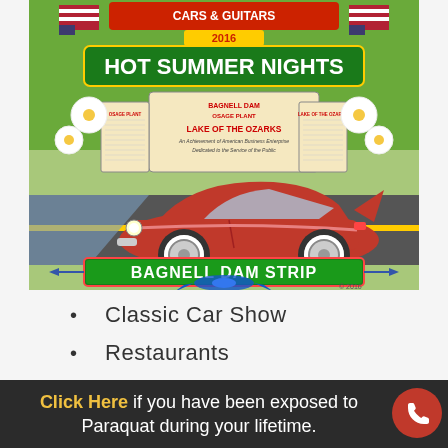[Figure (illustration): Colorful event poster for 'Cars & Guitar 2016 Hot Summer Nights' at Bagnell Dam Strip, Lake of the Ozarks. Features a red classic convertible car, American flags, flowers, and a marquee sign. Bottom banner reads 'BAGNELL DAM STRIP' in white text on green background. Copyright 2016.]
Classic Car Show
Restaurants
Live Entertainment
Click Here if you have been exposed to Paraquat during your lifetime.